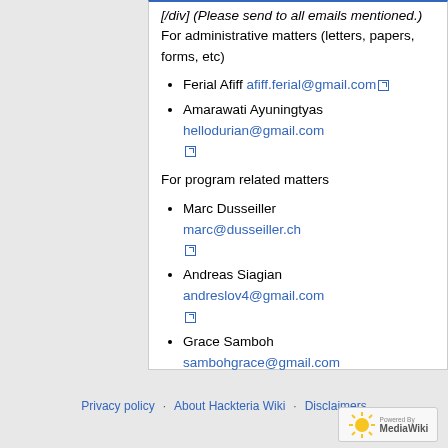[/div] (Please send to all emails mentioned.) For administrative matters (letters, papers, forms, etc)
Ferial Afiff afiff.ferial@gmail.com
Amarawati Ayuningtyas hellodurian@gmail.com
For program related matters
Marc Dusseiller marc@dusseiller.ch
Andreas Siagian andreslov4@gmail.com
Grace Samboh sambohgrace@gmail.com
Privacy policy · About Hackteria Wiki · Disclaimers